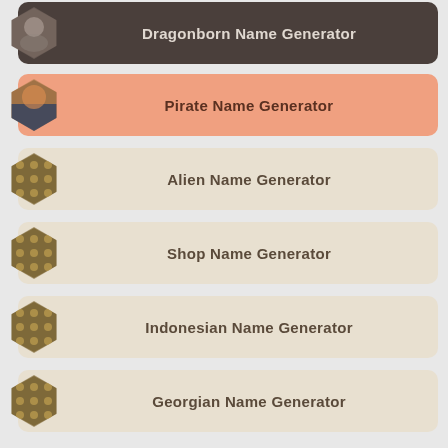Dragonborn Name Generator
Pirate Name Generator
Alien Name Generator
Shop Name Generator
Indonesian Name Generator
Georgian Name Generator
Kitsune Name Generator